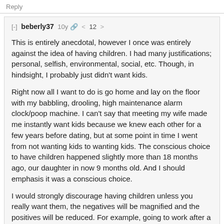Reply
[-] beberly37 10y 🔗 < 12 >
This is entirely anecdotal, however I once was entirely against the idea of having children. I had many justifications; personal, selfish, environmental, social, etc. Though, in hindsight, I probably just didn't want kids.
Right now all I want to do is go home and lay on the floor with my babbling, drooling, high maintenance alarm clock/poop machine. I can't say that meeting my wife made me instantly want kids because we knew each other for a few years before dating, but at some point in time I went from not wanting kids to wanting kids. The conscious choice to have children happened slightly more than 18 months ago, our daughter in now 9 months old. And I should emphasis it was a conscious choice.
I would strongly discourage having children unless you really want them, the negatives will be magnified and the positives will be reduced. For example, going to work after a week of only sleeping 2 hours a night is a lot easier if you can look forward to a happy, two-toothed smile when you